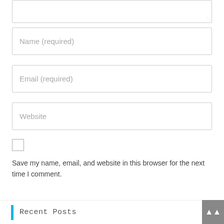[Figure (screenshot): Partial textarea input field at top of page, showing bottom portion with resize handle]
Name (required)
Email (required)
Website
Save my name, email, and website in this browser for the next time I comment.
POST COMMENT
Recent Posts